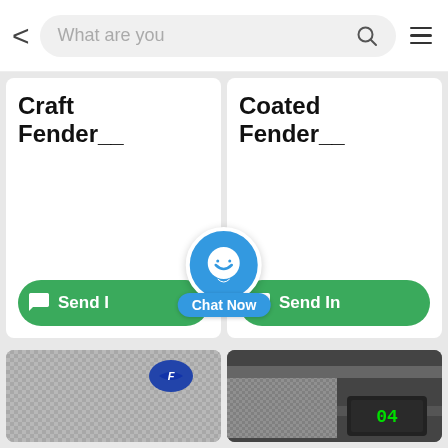[Figure (screenshot): Mobile app search bar with back arrow, search input showing 'What are you', search icon, and hamburger menu icon]
Craft Fender__
Send I
Coated Fender__
Send In
[Figure (other): Blue circular chat button with smiley face icon and 'Chat Now' label overlay]
[Figure (photo): Bottom left product card with partial fabric/textile image visible]
[Figure (photo): Bottom right product card with partial textile/measurement image visible]